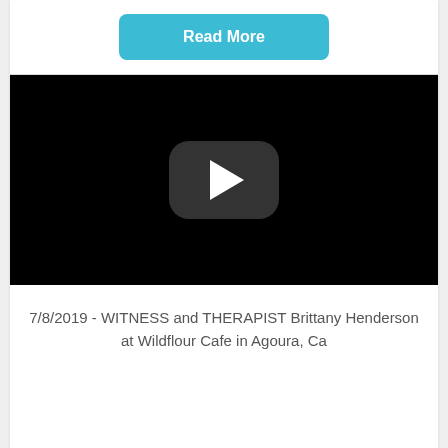Read More
[Figure (screenshot): Video player with black background and a YouTube-style play button (rounded rectangle with white triangle) in the center]
7/8/2019 - WITNESS and THERAPIST Brittany Henderson at Wildflour Cafe in Agoura, Ca